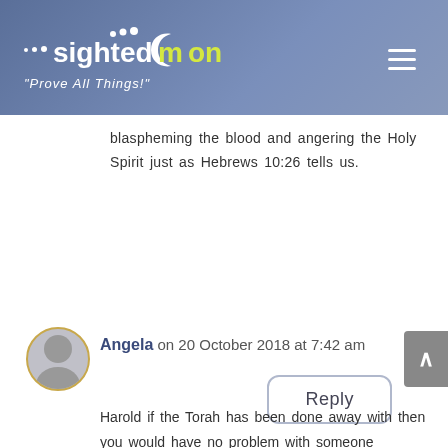sightedmoon – "Prove All Things!"
blaspheming the blood and angering the Holy Spirit just as Hebrews 10:26 tells us.
Reply
Angela on 20 October 2018 at 7:42 am
Harold if the Torah has been done away with then you would have no problem with someone breaking into your home, raping your wife and then killing her and robbing your valuables